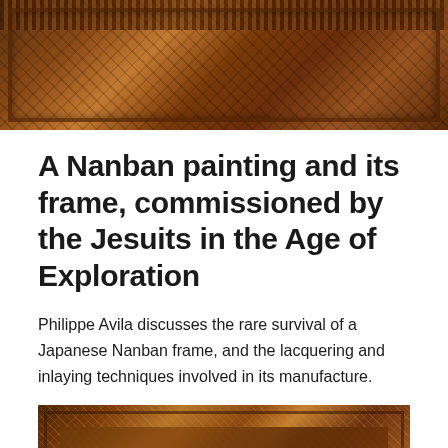[Figure (photo): Close-up photograph of a decorative Japanese Nanban lacquered frame with geometric and triangular patterns in dark brown and copper tones, showing the top portion of the frame.]
A Nanban painting and its frame, commissioned by the Jesuits in the Age of Exploration
Philippe Avila discusses the rare survival of a Japanese Nanban frame, and the lacquering and inlaying techniques involved in its manufacture.
[Figure (photo): Photograph of a Japanese Nanban lacquered picture frame with intricate geometric inlay patterns in gold, white, and brown tones forming diamond/lattice designs, with a dark central area showing a painted scene.]